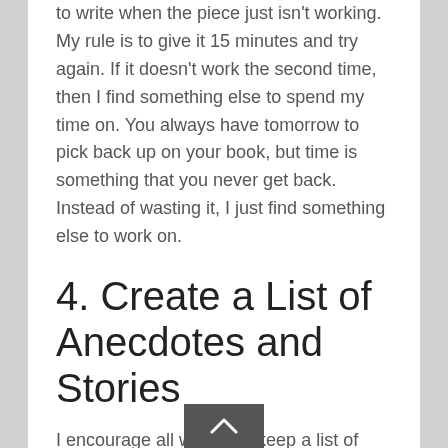to write when the piece just isn't working. My rule is to give it 15 minutes and try again. If it doesn't work the second time, then I find something else to spend my time on. You always have tomorrow to pick back up on your book, but time is something that you never get back. Instead of wasting it, I just find something else to work on.
4. Create a List of Anecdotes and Stories
I encourage all writers to keep a list of anecdotes and stories for quick reference. We all know how great these are to include in a book. The problem is that they are extremely hard to remember. When you have a list, it's easy to find a quick anecdote to include. This is what separates good books from great books.
5. Never Multask